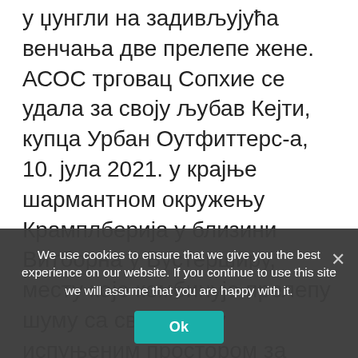у џунгли на задивљујућа венчања две прелепе жене. АСОС трговац Сопхие се удала за своју љубав Кејти, купца Урбан Оутфиттерс-а, 10. јула 2021. у крајње шармантном окружењу Крамплберија у близини Витборна у Вустерширу, месту које комбинује прелепу шуму са светлошћу испуњеним простором за догађаје. Пар је одрастао у околини ...
Read more
Bridal
Asos, Dress, Gohun, Inspired, Katie, ...
We use cookies to ensure that we give you the best experience on our website. If you continue to use this site we will assume that you are happy with it.